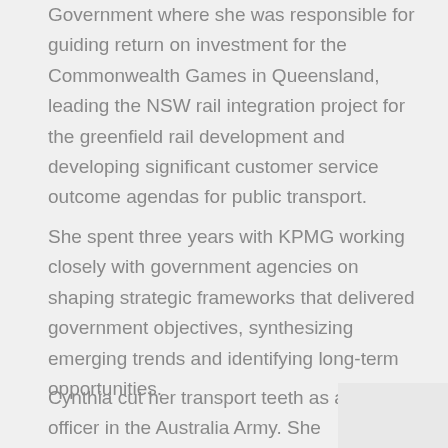Government where she was responsible for guiding return on investment for the Commonwealth Games in Queensland, leading the NSW rail integration project for the greenfield rail development and developing significant customer service outcome agendas for public transport.
She spent three years with KPMG working closely with government agencies on shaping strategic frameworks that delivered government objectives, synthesizing emerging trends and identifying long-term opportunities.
Cynthia cut her transport teeth as a logistics officer in the Australia Army. She subsequently developed a passion for